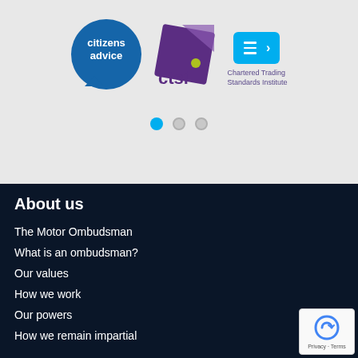[Figure (logo): Citizens Advice circular blue logo with white text 'citizens advice' and speech bubble tail]
[Figure (logo): CTSI (Chartered Trading Standards Institute) purple diamond-shaped logo with yellow-green dot and text 'ctsi']
[Figure (logo): Cyan rectangular button with hamburger menu lines and right arrow icon]
Chartered Trading Standards Institute
[Figure (infographic): Three dots carousel indicator: first dot filled cyan (active), second and third dots outlined grey (inactive)]
About us
The Motor Ombudsman
What is an ombudsman?
Our values
How we work
Our powers
How we remain impartial